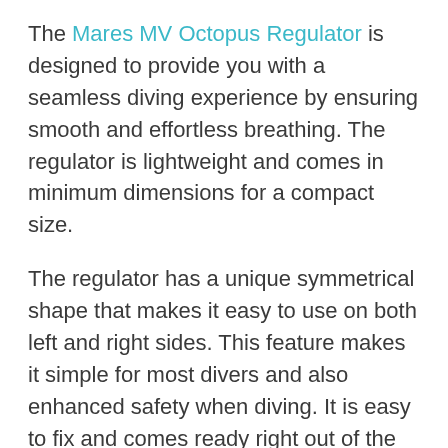The Mares MV Octopus Regulator is designed to provide you with a seamless diving experience by ensuring smooth and effortless breathing. The regulator is lightweight and comes in minimum dimensions for a compact size.
The regulator has a unique symmetrical shape that makes it easy to use on both left and right sides. This feature makes it simple for most divers and also enhanced safety when diving. It is easy to fix and comes ready right out of the box. One of the features that make it ideal for regular diving is the bright yellow color that makes it easily visible even in murky water.